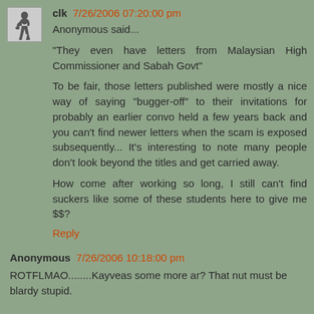clk 7/26/2006 07:20:00 pm
Anonymous said...
"They even have letters from Malaysian High Commissioner and Sabah Govt"
To be fair, those letters published were mostly a nice way of saying "bugger-off" to their invitations for probably an earlier convo held a few years back and you can't find newer letters when the scam is exposed subsequently... It's interesting to note many people don't look beyond the titles and get carried away.
How come after working so long, I still can't find suckers like some of these students here to give me $$?
Reply
Anonymous 7/26/2006 10:18:00 pm
ROTFLMAO........Kayveas some more ar? That nut must be blardy stupid.